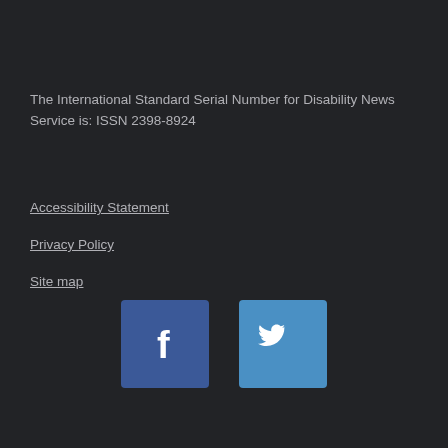The International Standard Serial Number for Disability News Service is: ISSN 2398-8924
Accessibility Statement
Privacy Policy
Site map
[Figure (logo): Facebook icon (white 'f' on blue background) and Twitter bird icon on blue background]